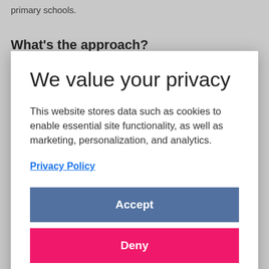primary schools.
What's the approach?
We value your privacy
This website stores data such as cookies to enable essential site functionality, as well as marketing, personalization, and analytics.
Privacy Policy
Accept
Deny
Conferencing, where the teacher talks to the child about their work and their next steps
One school runs a 'concentric' curriculum model that focuses